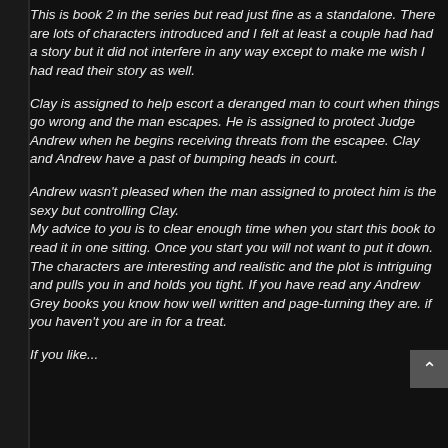This is book 2 in the series but read just fine as a standalone. There are lots of characters introduced and I felt at least a couple had had a story but it did not interfere in any way except to make me wish I had read their story as well.
Clay is assigned to help escort a deranged man to court when things go wrong and the man escapes. He is assigned to protect Judge Andrew when he begins receiving threats from the escapee. Clay and Andrew have a past of bumping heads in court.
Andrew wasn't pleased when the man assigned to protect him is the sexy but controlling Clay.
My advice to you is to clear enough time when you start this book to read it in one sitting. Once you start you will not want to put it down. The characters are interesting and realistic and the plot is intriguing and pulls you in and holds you tight. If you have read any Andrew Grey books you know how well written and page-turning they are. if you haven't you are in for a treat.
If you like...